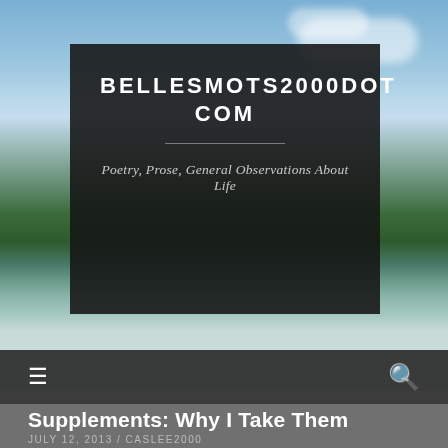[Figure (photo): Outdoor lake and sky scene with clouds, green trees, and calm water. Dark semi-transparent banner overlay on top of the photo.]
BELLESMOTS2000DOT COM
Poetry, Prose, General Observations About Life
≡  🔍
Supplements: Why I Take Them
JULY 12, 2013 / CASLEE2000